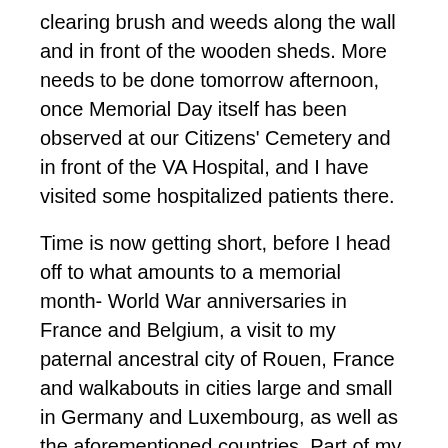clearing brush and weeds along the wall and in front of the wooden sheds.  More needs to be done tomorrow afternoon, once Memorial Day itself has been observed at our Citizens' Cemetery and in front of the VA Hospital, and I have visited some hospitalized patients there.
Time is now getting short, before I head off to what amounts to a memorial month- World War anniversaries in France and Belgium, a visit to my paternal ancestral city of Rouen, France and walkabouts in cities large and small in Germany and Luxembourg, as well as the aforementioned countries.  Part of my mind and heart will be watching what goes on here in Arizona, as the fire season continues to play out, in Flagstaff, Sedona and other towns.  My heart goes out to those who lost loved ones in Isla Vista, near Santa Barbara and to those dealing with extended flood emergencies in the Danubo Basin.  I will have more